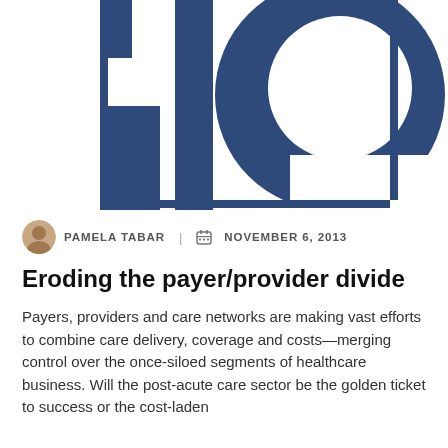[Figure (logo): Large blue stylized logo letters on white background, partial crop showing bold blue graphic letterforms]
PAMELA TABAR | NOVEMBER 6, 2013
Eroding the payer/provider divide
Payers, providers and care networks are making vast efforts to combine care delivery, coverage and costs—merging control over the once-siloed segments of healthcare business. Will the post-acute care sector be the golden ticket to success or the cost-laden